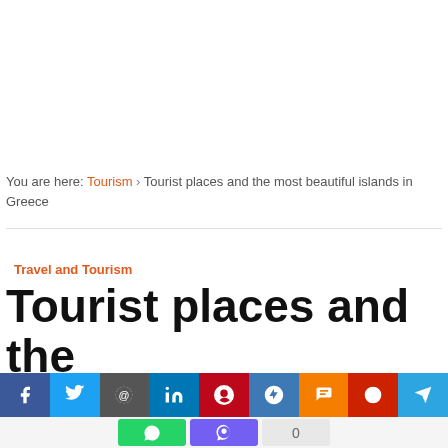You are here: Tourism > Tourist places and the most beautiful islands in Greece
Travel and Tourism
Tourist places and the most beautiful islands
[Figure (other): Social media share buttons bar: Facebook, Twitter, Email, LinkedIn, Pinterest, Mix, Blogger, Weibo, Telegram (top row); WhatsApp, Viber, share count 0 (bottom row)]